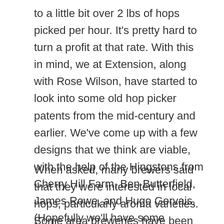to a little bit over 2 lbs of hops picked per hour. It's pretty hard to turn a profit at that rate. With this in mind, we at Extension, along with Rose Wilson, have started to look into some old hop picker patents from the mid-century and earlier. We've come up with a few designs that we think are viable, with the help of the Hingstons from Cherry Hill Farm, Ben Butterfield, James Rowe, and Hugo Gervais. (Hopefully we'll have some prototypes up and running by the time we have to harvest our 540 research bines.)
When asked, many brewers said that they were interested in local hops, particularly aroma varieties. Some area breweries have been making batches with fresh wet hops, but as the supply is